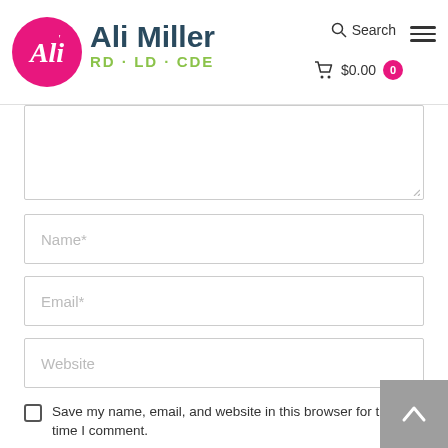[Figure (logo): Ali Miller RD·LD·CDE logo with pink circle containing stylized 'Ali' script and teal/green text]
Search
$0.00  0
Name*
Email*
Website
Save my name, email, and website in this browser for the next time I comment.
[Figure (screenshot): reCAPTCHA widget with checkbox and 'I'm not a robot' text]